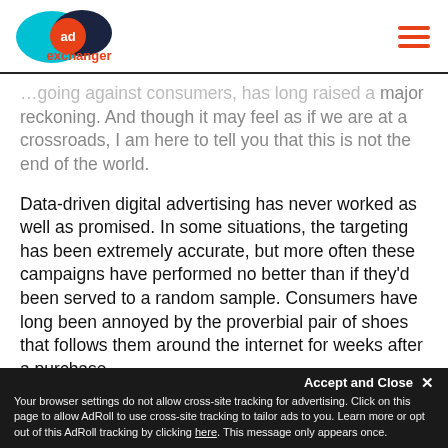AdExchanger logo and navigation
...going against consumers, has long raised a major reckoning. And though it may feel as if we are at a crossroads, I am here to tell you that this is not the end of the world.
Data-driven digital advertising has never worked as well as promised. In some situations, the targeting has been extremely accurate, but more often these campaigns have performed no better than if they'd been served to a random sample. Consumers have long been annoyed by the proverbial pair of shoes that follows them around the internet for weeks after a purchase.
Accept and Close ✕
Your browser settings do not allow cross-site tracking for advertising. Click on this page to allow AdRoll to use cross-site tracking to tailor ads to you. Learn more or opt out of this AdRoll tracking by clicking here. This message only appears once.